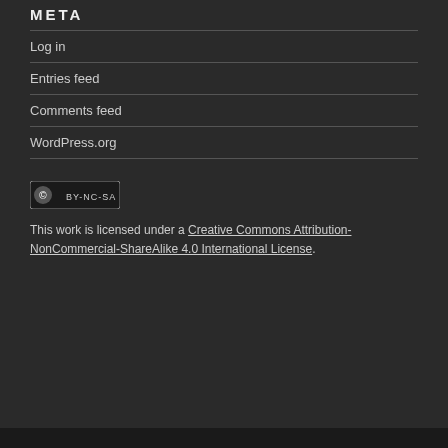META
Log in
Entries feed
Comments feed
WordPress.org
[Figure (logo): Creative Commons BY-NC-SA badge/icon]
This work is licensed under a Creative Commons Attribution-NonCommercial-ShareAlike 4.0 International License.